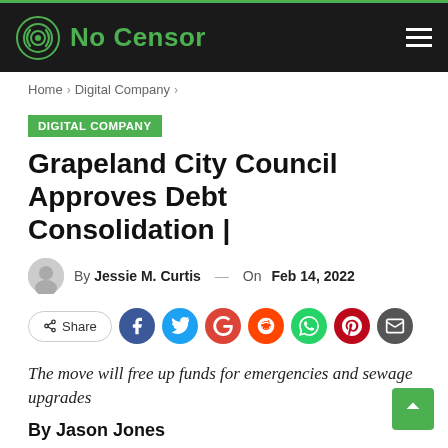No Censor
Home > Digital Company >
DIGITAL COMPANY
Grapeland City Council Approves Debt Consolidation |
By Jessie M. Curtis — On Feb 14, 2022
[Figure (infographic): Social share buttons row: Share, Facebook, Twitter, Google, Reddit, WhatsApp, Pinterest, Email]
The move will free up funds for emergencies and sewage upgrades
By Jason Jones